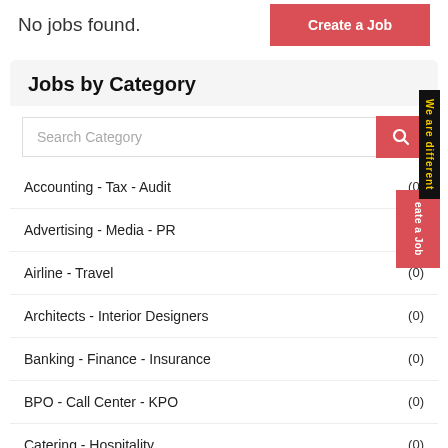No jobs found.
Create a Job
Jobs by Category
Search Category
Accounting - Tax - Audit (0)
Advertising - Media - PR (0)
Airline - Travel (0)
Architects - Interior Designers (0)
Banking - Finance - Insurance (0)
BPO - Call Center - KPO (0)
Catering - Hospitality (0)
Content Writers - Translators (0)